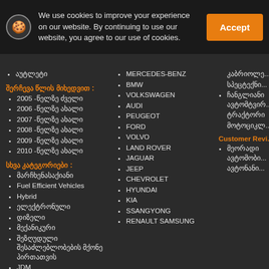We use cookies to improve your experience on our website. By continuing to use our website, you agree to our use of cookies.
აუტლეტი
შერჩევა წლის მიხედვით :
2005 -წელზე ძველი
2006 -წელზე ახალი
2007 -წელზე ახალი
2008 -წელზე ახალი
2009 -წელზე ახალი
2010 -წელზე ახალი
სხვა კატეგორიები :
მარჩხენასაქიანი
Fuel Efficient Vehicles
Hybrid
ელექტრონული
დიზელი
მექანიკური
შეზღუდული შესაძლებლობების მქონე პირთათვის
JDM
BE Local Stocks :
MERCEDES-BENZ
BMW
VOLKSWAGEN
AUDI
PEUGEOT
FORD
VOLVO
LAND ROVER
JAGUAR
JEEP
CHEVROLET
HYUNDAI
KIA
SSANGYONG
RENAULT SAMSUNG
კაბრიოლე...
სპეცტექნი...
ჩანგლიანი ავტომტვირ...
ტრაქტორი
მოტოციკლ...
Customer Revi...
მეორადი ავტომობი...
ავტონანი...